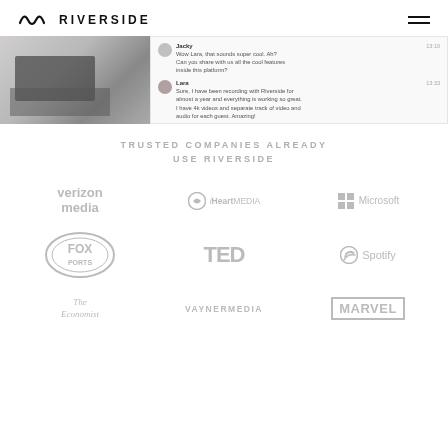RIVERSIDE
[Figure (screenshot): Screenshot of Riverside.fm interface showing a laptop/tablet on left and a chat panel on right with messages from Jacky and Lara about recording features]
TRUSTED COMPANIES ALREADY USE RIVERSIDE
[Figure (logo): verizon media logo (gray)]
[Figure (logo): iHeartMEDIA logo (gray)]
[Figure (logo): Microsoft logo (gray)]
[Figure (logo): FOX PORTS logo (gray, oval shape)]
[Figure (logo): TED logo (gray, bold)]
[Figure (logo): Spotify logo (gray)]
[Figure (logo): The Economist logo (gray, serif italic)]
[Figure (logo): VAYNERMEDIA logo (gray)]
[Figure (logo): MARVEL logo (gray, block letters with border)]